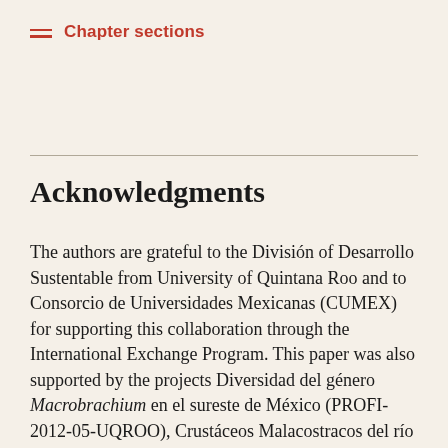Chapter sections
Acknowledgments
The authors are grateful to the División of Desarrollo Sustentable from University of Quintana Roo and to Consorcio de Universidades Mexicanas (CUMEX) for supporting this collaboration through the International Exchange Program. This paper was also supported by the projects Diversidad del género Macrobrachium en el sureste de México (PROFI-2012-05-UQROO), Crustáceos Malacostracos del río Papalopan (CONABIO) and Sistemática molecular de los langostinos del género Macrobrachium...